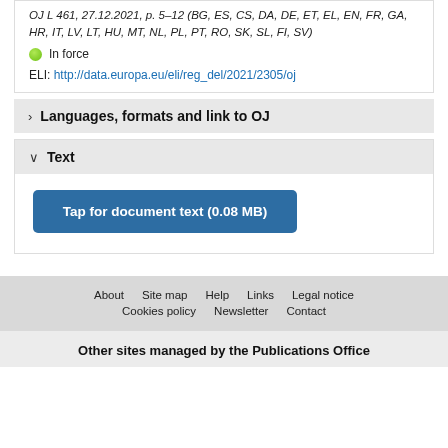OJ L 461, 27.12.2021, p. 5–12 (BG, ES, CS, DA, DE, ET, EL, EN, FR, GA, HR, IT, LV, LT, HU, MT, NL, PL, PT, RO, SK, SL, FI, SV)
In force
ELI: http://data.europa.eu/eli/reg_del/2021/2305/oj
Languages, formats and link to OJ
Text
Tap for document text (0.08 MB)
About   Site map   Help   Links   Legal notice   Cookies policy   Newsletter   Contact
Other sites managed by the Publications Office